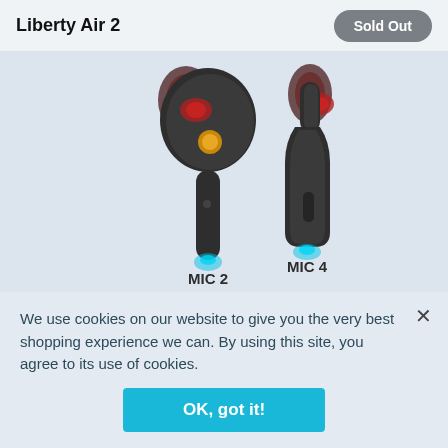Liberty Air 2
Sold Out
[Figure (photo): Two wireless earbuds (Liberty Air 2) shown side by side in dark gray color with red accents. Left earbud labeled MIC 2, right earbud labeled MIC 4. Blue glow beneath each earbud stem. Light blue background.]
We use cookies on our website to give you the very best shopping experience we can. By using this site, you agree to its use of cookies.
OK, got it!